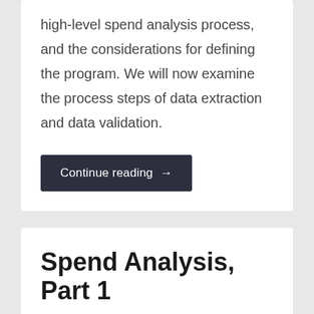high-level spend analysis process, and the considerations for defining the program. We will now examine the process steps of data extraction and data validation.
Continue reading →
Spend Analysis, Part 1